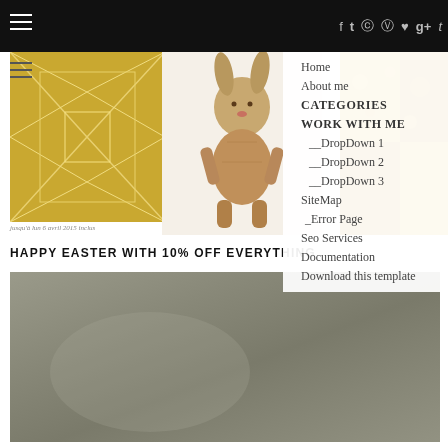Navigation bar with hamburger menus, social icons (f, twitter, instagram, pinterest, heart, g+, t), and dropdown menu: Home, About me, CATEGORIES, WORK WITH ME, __DropDown 1, __DropDown 2, __DropDown 3, SiteMap, _Error Page, Seo Services, Documentation, Download this template
[Figure (photo): Blog/website screenshot showing decorative geometric golden/yellow pattern image on left, wooden toy bunny rabbit in center, textured golden fabric on right. Caption reads 'jusqu'à lun 6 avril 2015 inclus']
HAPPY EASTER WITH 10% OFF EVERYTHING
[Figure (photo): Large gray-green muted color block image, possibly a blurred or out-of-focus photograph with gradient tones of gray, olive and beige]